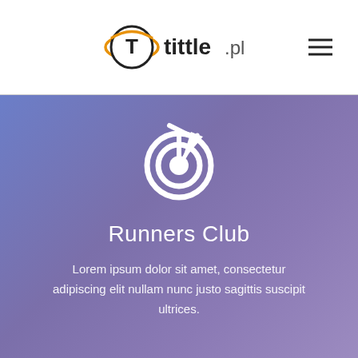[Figure (logo): tittle.pl logo with circular T icon in orange/black and bold text]
Runners Club
Lorem ipsum dolor sit amet, consectetur adipiscing elit nullam nunc justo sagittis suscipit ultrices.